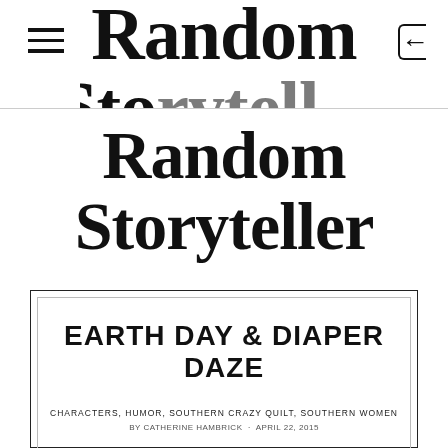Random Storyteller
Random Storyteller
EARTH DAY & DIAPER DAZE
CHARACTERS, HUMOR, SOUTHERN CRAZY QUILT, SOUTHERN WOMEN
by CATHERINE HAMBRICK · APRIL 22, 2015